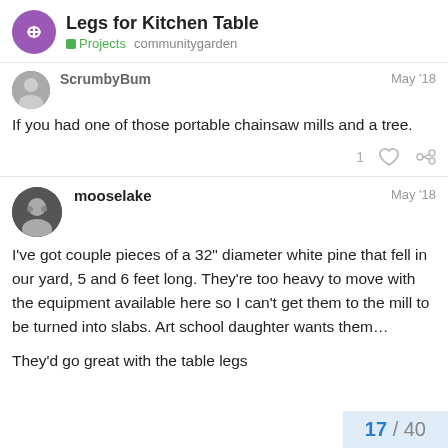Legs for Kitchen Table | Projects communitygarden
ScrumbyBum  May '18
If you had one of those portable chainsaw mills and a tree.
mooselake  May '18
I've got couple pieces of a 32" diameter white pine that fell in our yard, 5 and 6 feet long. They're too heavy to move with the equipment available here so I can't get them to the mill to be turned into slabs. Art school daughter wants them…
They'd go great with the table legs
17 / 40